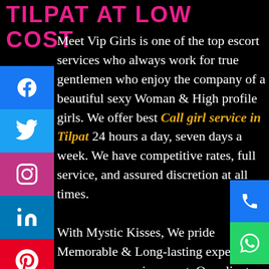TILPAT AT LOW COST
Meet Vip Girls is one of the top escort services who always work for true gentlemen who enjoy the company of a beautiful sexy Woman & High profile girls. We offer best Call girl service in Tilpat 24 hours a day, seven days a week. We have competitive rates, full service, and assured discretion at all times.

With Mystic Kisses, We pride Memorable & Long-lasting experience you never experience yet. Our clients consider us to be a first-class & Most trusted agency, dedicated to the best in offering five-star quality, personal attention, and complete Satisfaction. We have a team of beautiful and newest talent and go to great lengths to assure a mutually enjoyable environment for both you and your companion.